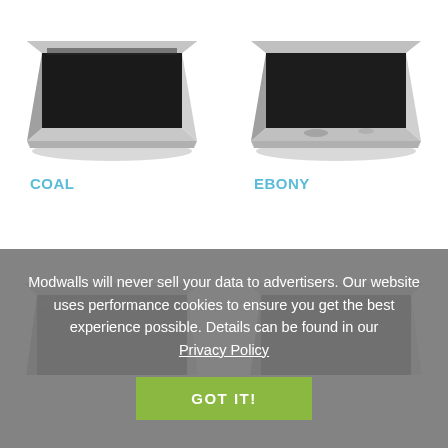[Figure (photo): Black square tile labeled COAL - metallic silver edged tile with dark matte top surface]
COAL
[Figure (photo): Black square tile labeled EBONY - metallic silver edged tile with dark matte top surface showing slight variation]
EBONY
[Figure (photo): Partially visible black glossy square tile in bottom left]
[Figure (photo): Partially visible black glossy square tile in bottom right]
Modwalls will never sell your data to advertisers. Our website uses performance cookies to ensure you get the best experience possible. Details can be found in our Privacy Policy
GOT IT!